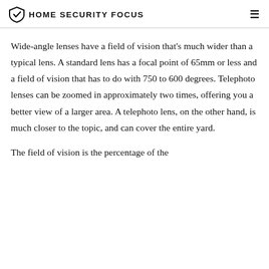HOME SECURITY FOCUS
Wide-angle lenses have a field of vision that's much wider than a typical lens. A standard lens has a focal point of 65mm or less and a field of vision that has to do with 750 to 600 degrees. Telephoto lenses can be zoomed in approximately two times, offering you a better view of a larger area. A telephoto lens, on the other hand, is much closer to the topic, and can cover the entire yard.
The field of vision is the percentage of the